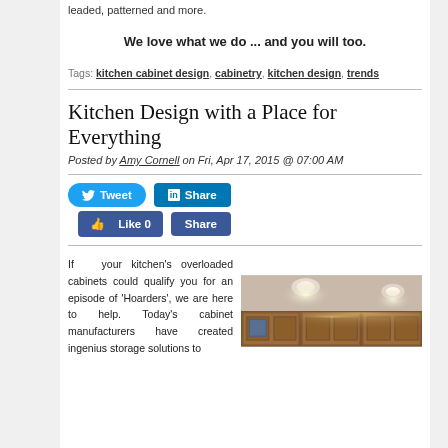leaded, patterned and more.
We love what we do ... and you will too.
Tags: kitchen cabinet design, cabinetry, kitchen design, trends
Kitchen Design with a Place for Everything
Posted by Amy Cornell on Fri, Apr 17, 2015 @ 07:00 AM
[Figure (infographic): Social sharing buttons: Tweet (Twitter), Share (LinkedIn), Like 0 (Facebook), Share (Facebook)]
If your kitchen's overloaded cabinets could qualify you for an episode of 'Hoarders', we are here to help. Today's cabinet manufacturers have created ingenius storage solutions to
[Figure (photo): Kitchen with wooden cabinets and recessed ceiling lights]